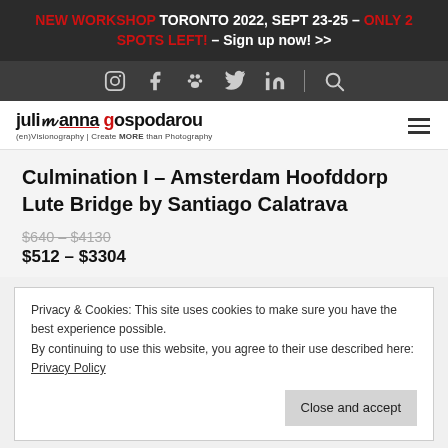NEW WORKSHOP TORONTO 2022, SEPT 23-25 – ONLY 2 SPOTS LEFT! – Sign up now! >>
[Figure (screenshot): Social media navigation icons: Instagram, Facebook, Groups, Twitter, LinkedIn, Search]
[Figure (logo): Julia Anna Gospodarou logo with tagline: (en)Visionography | Create MORE than Photography]
Culmination I – Amsterdam Hoofddorp Lute Bridge by Santiago Calatrava
$640 – $4130 (strikethrough original price)
$512 – $3304 (sale price)
Privacy & Cookies: This site uses cookies to make sure you have the best experience possible.
By continuing to use this website, you agree to their use described here: Privacy Policy
Close and accept